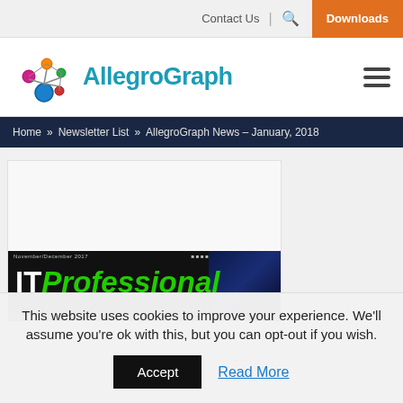Contact Us | 🔍 Downloads
[Figure (logo): AllegroGraph logo with colorful network nodes and brand name in teal]
Home » Newsletter List » AllegroGraph News – January, 2018
[Figure (screenshot): IT Professional magazine cover image with black and green text on dark background]
This website uses cookies to improve your experience. We'll assume you're ok with this, but you can opt-out if you wish.
Accept  Read More